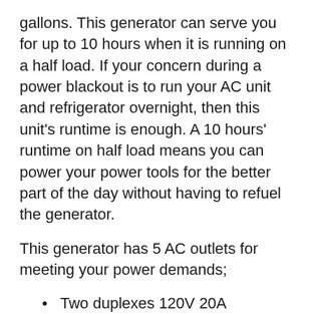gallons. This generator can serve you for up to 10 hours when it is running on a half load. If your concern during a power blackout is to run your AC unit and refrigerator overnight, then this unit’s runtime is enough. A 10 hours’ runtime on half load means you can power your power tools for the better part of the day without having to refuel the generator.
This generator has 5 AC outlets for meeting your power demands;
Two duplexes 120V 20A household-style outlets (GFCI protected0
Single 120/240V 30A outlet (Transfer Switch Ready)